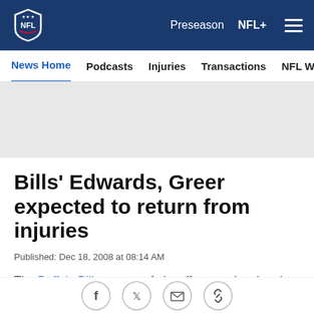NFL Navigation bar with logo, Preseason, NFL+, menu
News Home | Podcasts | Injuries | Transactions | NFL Writers | Se
[Figure (other): Gray advertisement/banner area]
Bills' Edwards, Greer expected to return from injuries
Published: Dec 18, 2008 at 08:14 AM
The Buffalo Bills are out of playoff contention, but they might see two key starters return Sunday against the
[Figure (other): Social sharing icons: Facebook, Twitter, Email, Link]